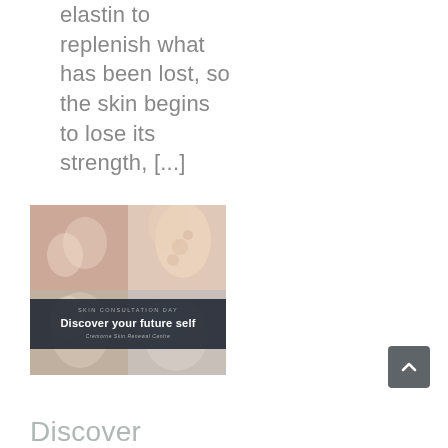elastin to replenish what has been lost, so the skin begins to lose its strength, [...]
[Figure (photo): Composite of four skin/facial images with a dark overlay banner reading 'SKIN CONSULTATION DAY – Discover your future self – Cremorne Skin Renewal Centre']
Discover